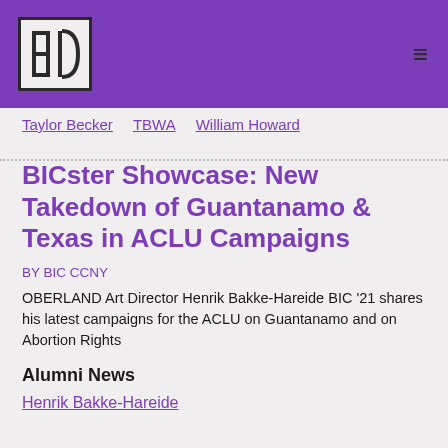BIC CCNY — navigation header with logo and menu
Taylor Becker   TBWA   William Howard
BICster Showcase: New Takedown of Guantanamo & Texas in ACLU Campaigns
BY BIC CCNY
OBERLAND Art Director Henrik Bakke-Hareide BIC '21 shares his latest campaigns for the ACLU on Guantanamo and on Abortion Rights
Alumni News
Henrik Bakke-Hareide